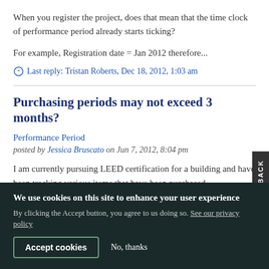When you register the project, does that mean that the time clock of performance period already starts ticking?
For example, Registration date = Jan 2012 therefore...
Last reply: Tristan Roberts, Dec 18, 2012, 1:03 am
Purchasing periods may not exceed 3 months?
Performance Period
posted by Jessica Bruscato on Jun 7, 2012, 8:04 pm
I am currently pursuing LEED certification for a building and have been tracking various items that have been purchased
We use cookies on this site to enhance your user experience
By clicking the Accept button, you agree to us doing so. See our privacy policy
Accept cookies
No, thanks
FEEDBACK